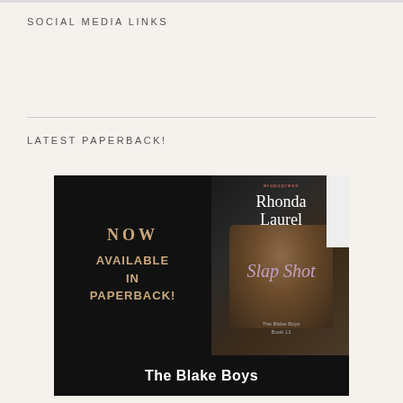SOCIAL MEDIA LINKS
LATEST PAPERBACK!
[Figure (illustration): Book promotional image for 'Slap Shot' by Rhonda Laurel, The Blake Boys Book 11. Dark background with text 'NOW AVAILABLE IN PAPERBACK!' on the left and a book cover on the right showing a muscular male torso. Bottom bar reads 'The Blake Boys'.]